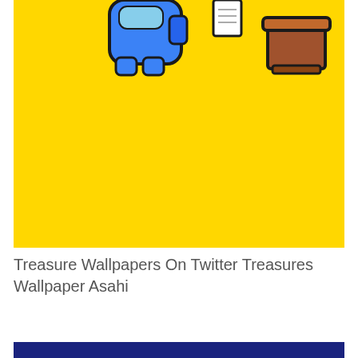[Figure (illustration): Yellow background illustration showing a blue cartoon character (Among Us-style figure) on the left and a brown flower pot on the right, on a bright yellow background]
Treasure Wallpapers On Twitter Treasures Wallpaper Asahi
[Figure (illustration): Dark navy blue bar visible at the bottom of the page, partial view of another image]